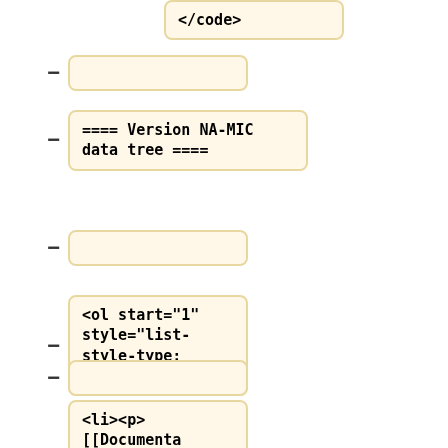</code>
-
==== Version NA-MIC data tree ====
-
<ol start="1" style="list-style-type: decimal;">
-
<li><p> [[Documentation/{{documentation/version}}/Develo pers/Tutorial